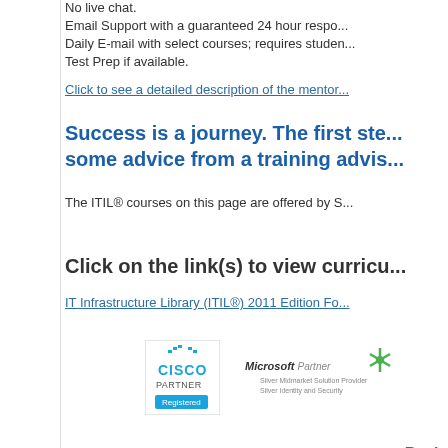No live chat.
Email Support with a guaranteed 24 hour respo...
Daily E-mail with select courses; requires studen...
Test Prep if available.
Click to see a detailed description of the mentor...
Success is a journey. The first ste... some advice from a training advis...
The ITIL® courses on this page are offered by S...
Click on the link(s) to view curricu...
IT Infrastructure Library (ITIL®) 2011 Edition Fo...
[Figure (logo): Cisco Partner Registered logo]
[Figure (logo): Microsoft Partner Silver Midmarket Solution Provider Silver Identity and Security logo]
Site Code:
DIRECT
Back
800-358-6389
Information Technology Online Training Courses; Business Development Online Training Courses;